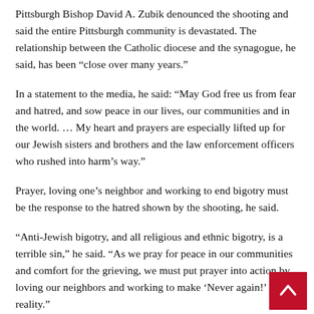Pittsburgh Bishop David A. Zubik denounced the shooting and said the entire Pittsburgh community is devastated. The relationship between the Catholic diocese and the synagogue, he said, has been “close over many years.”
In a statement to the media, he said: “May God free us from fear and hatred, and sow peace in our lives, our communities and in the world. … My heart and prayers are especially lifted up for our Jewish sisters and brothers and the law enforcement officers who rushed into harm’s way.”
Prayer, loving one’s neighbor and working to end bigotry must be the response to the hatred shown by the shooting, he said.
“Anti-Jewish bigotry, and all religious and ethnic bigotry, is a terrible sin,” he said. “As we pray for peace in our communities and comfort for the grieving, we must put prayer into action by loving our neighbors and working to make ‘Never again!’ a reality.”
The chairman of the USCCB Committee for Ecumenism and